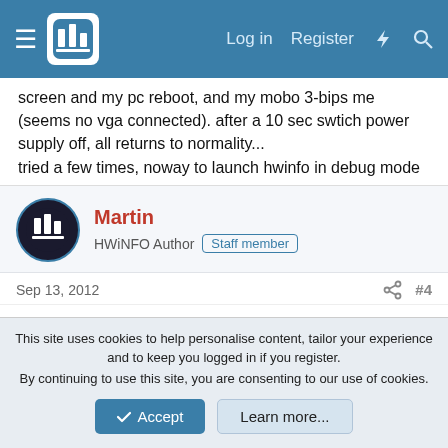HWiNFO Forum — Log in | Register
screen and my pc reboot, and my mobo 3-bips me (seems no vga connected). after a 10 sec swtich power supply off, all returns to normality...
tried a few times, noway to launch hwinfo in debug mode
Martin
HWiNFO Author  Staff member
Sep 13, 2012
#4
Does it happen during the initial phase (Detecting Video Adapter) or while scanning for sensors ?
Please attach or send me the Debug File from that situation too.
I might see there where and why it does such thing and maybe
This site uses cookies to help personalise content, tailor your experience and to keep you logged in if you register.
By continuing to use this site, you are consenting to our use of cookies.